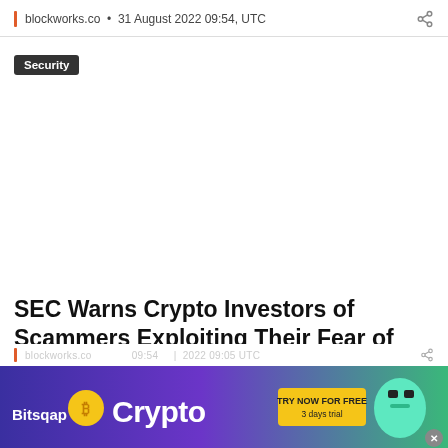blockworks.co • 31 August 2022 09:54, UTC
Security
SEC Warns Crypto Investors of Scammers Exploiting Their Fear of Missing Out on Social Media
[Figure (infographic): Bitsqap Crypto advertisement banner with gold coin, robot graphic, and TRY NOW FOR FREE 3 days trial button]